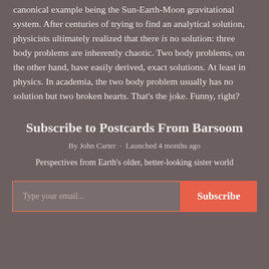canonical example being the Sun-Earth-Moon gravitational system. After centuries of trying to find an analytical solution, physicists ultimately realized that there is no solution: three body problems are inherently chaotic. Two body problems, on the other hand, have easily derived, exact solutions. At least in physics. In academia, the two body problem usually has no solution but two broken hearts. That's the joke. Funny, right?
Subscribe to Postcards From Barsoom
By John Carter · Launched 4 months ago
Perspectives from Earth's older, better-looking sister world